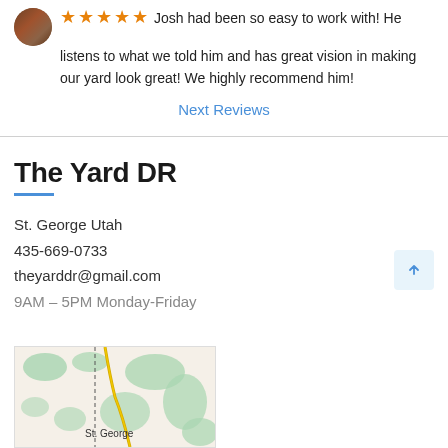Josh had been so easy to work with! He listens to what we told him and has great vision in making our yard look great! We highly recommend him!
Next Reviews
The Yard DR
St. George Utah
435-669-0733
theyarddr@gmail.com
9AM – 5PM Monday-Friday
[Figure (map): Map showing St. George, Utah area with green terrain features and a road/path through the center]